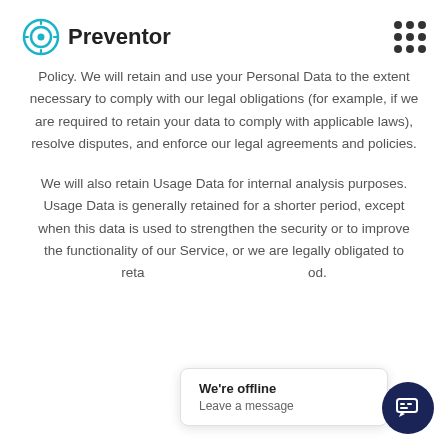Preventor
Policy. We will retain and use your Personal Data to the extent necessary to comply with our legal obligations (for example, if we are required to retain your data to comply with applicable laws), resolve disputes, and enforce our legal agreements and policies.
We will also retain Usage Data for internal analysis purposes. Usage Data is generally retained for a shorter period, except when this data is used to strengthen the security or to improve the functionality of our Service, or we are legally obligated to retain this data for a longer period.
We're offline
Leave a message